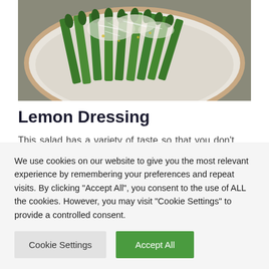[Figure (photo): Top-down photo of green asparagus spears on a white ceramic plate, topped with grated white cheese and seasoning, on a gray surface.]
Lemon Dressing
This salad has a variety of taste so that you don't want a ton of dressing. I similar to to
We use cookies on our website to give you the most relevant experience by remembering your preferences and repeat visits. By clicking "Accept All", you consent to the use of ALL the cookies. However, you may visit "Cookie Settings" to provide a controlled consent.